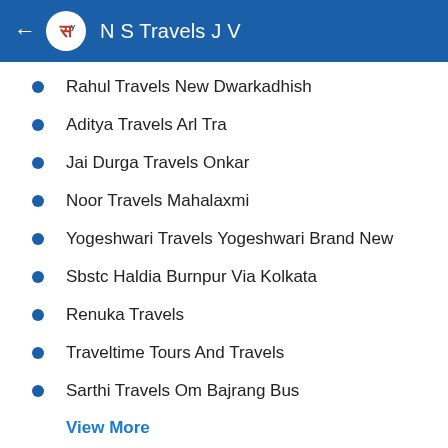N S Travels J V
Rahul Travels New Dwarkadhish
Aditya Travels Arl Tra
Jai Durga Travels Onkar
Noor Travels Mahalaxmi
Yogeshwari Travels Yogeshwari Brand New
Sbstc Haldia Burnpur Via Kolkata
Renuka Travels
Traveltime Tours And Travels
Sarthi Travels Om Bajrang Bus
View More